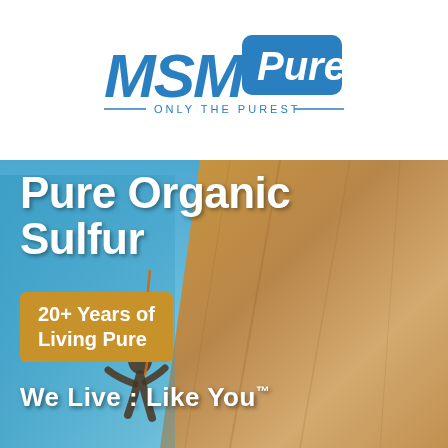[Figure (logo): MSMPure logo with 'ONLY THE PUREST' tagline — MSM in large italic blue letters, Pure in white on blue rounded rectangle, decorative lines on either side of tagline]
[Figure (photo): Rock climber scaling a steep cliff face against blue sky, background shows rocky golden/tan cliff texture on the right side]
Pure Organic Sulfur
20+ Years of Living Pure
We Live : Like You™